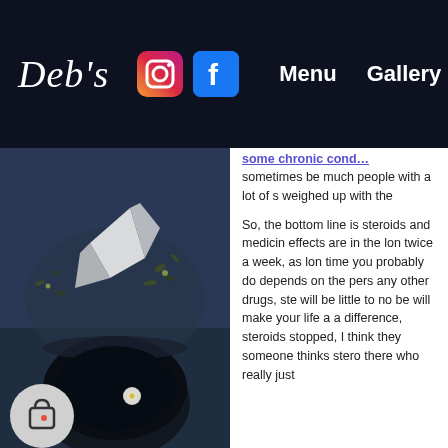Deb's — Menu | Gallery | Co…
[Figure (photo): Dark overhead photo of a black bowl/cup of tea on a dark surface with scattered dried herbs and a white paper crane, alongside social media and navigation website screenshot]
sometimes be much people with a lot of s weighed up with the
So, the bottom line is steroids and medicin effects are in the lon twice a week, as lon time you probably do depends on the pers any other drugs, ste will be little to no be will make your life a a difference, steroids stopped, I think they someone thinks stero there who really jus